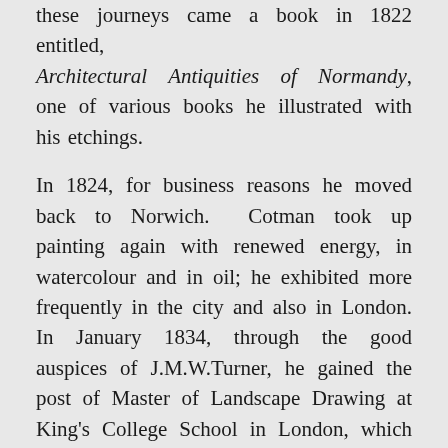these journeys came a book in 1822 entitled, Architectural Antiquities of Normandy, one of various books he illustrated with his etchings.
In 1824, for business reasons he moved back to Norwich. Cotman took up painting again with renewed energy, in watercolour and in oil; he exhibited more frequently in the city and also in London. In January 1834, through the good auspices of J.M.W.Turner, he gained the post of Master of Landscape Drawing at King's College School in London, which he held until his death. He and his family moved home to the London borough of Bloomsbury. Two years later, his eldest son Miles Edmond Cotman was appointed to assist him. The taking up of the position at King's College could not have some